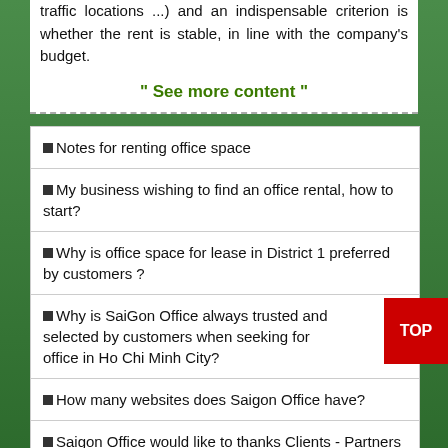traffic locations ...) and an indispensable criterion is whether the rent is stable, in line with the company's budget.
" See more content "
Notes for renting office space
My business wishing to find an office rental, how to start?
Why is office space for lease in District 1 preferred by customers ?
Why is SaiGon Office always trusted and selected by customers when seeking for office in Ho Chi Minh City?
How many websites does Saigon Office have?
Saigon Office would like to thanks Clients - Partners for trust, selection and cooperation during the past time...